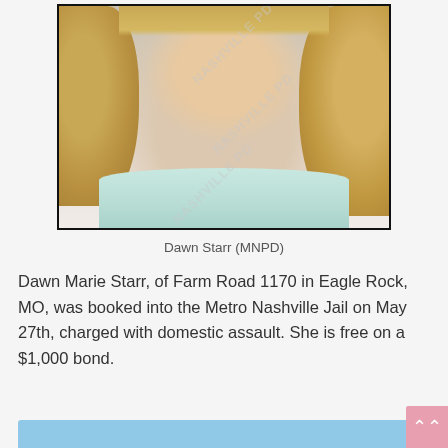[Figure (photo): Mugshot/booking photo of Dawn Starr with MNPD watermark, showing a middle-aged woman with curly blonde hair wearing a light teal shirt]
Dawn Starr (MNPD)
Dawn Marie Starr, of Farm Road 1170 in Eagle Rock, MO, was booked into the Metro Nashville Jail on May 27th, charged with domestic assault. She is free on a $1,000 bond.